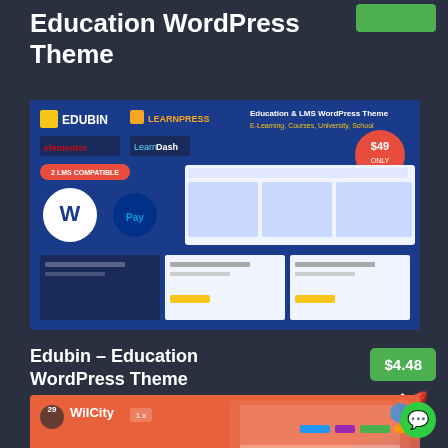Education WordPress Theme
[Figure (screenshot): Edubin Education & LMS WordPress Theme product banner showing $49 price, logos for Elementor, LearnPress, LearnDash, WordPress, PayPal, and multiple theme screenshots]
Edubin – Education WordPress Theme
$4.48
[Figure (screenshot): WilCity Directory & Listing WordPress Theme product banner with coral/purple gradient, iOS and Android application coming soon text with app store badges]